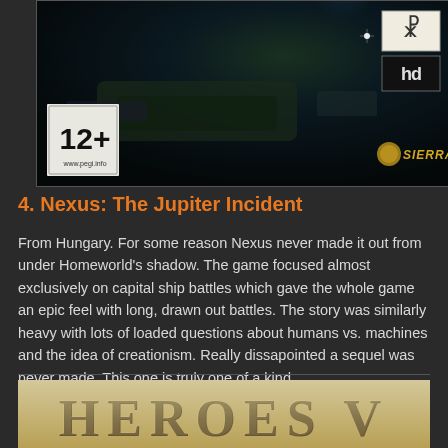[Figure (photo): Game cover art for Nexus: The Jupiter Incident showing dark sci-fi space scene with a large spacecraft, blue beam of light, rating badge showing 12+ with www.pegi.info, HD logo badge, Sierra logo, and a spiral/HD logo in top right corner]
4. Nexus: The Jupiter Incident
From Hungary. For some reason Nexus never made it out from under Homeworld's shadow. The game focused almost exclusively on capital ship battles which gave the whole game an epic feel with long, drawn out battles. The story was similarly heavy with lots of loaded questions about humans vs. machines and the idea of creationism. Really dissapointed a sequel was never made. This one is truly one of a kind.
[Figure (photo): Bottom portion of next game cover showing Heroes V title text in stone/metallic lettering on a parchment-colored background]